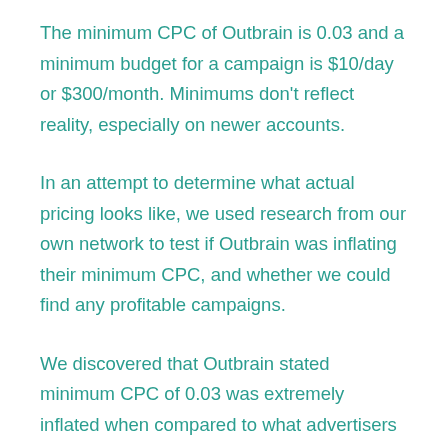The minimum CPC of Outbrain is 0.03 and a minimum budget for a campaign is $10/day or $300/month. Minimums don't reflect reality, especially on newer accounts.
In an attempt to determine what actual pricing looks like, we used research from our own network to test if Outbrain was inflating their minimum CPC, and whether we could find any profitable campaigns.
We discovered that Outbrain stated minimum CPC of 0.03 was extremely inflated when compared to what advertisers were actually paying our network partners; the actual average cost-per-click (CPC) for Outbrain is close to $0.06 vs Outbrain stated CPC of